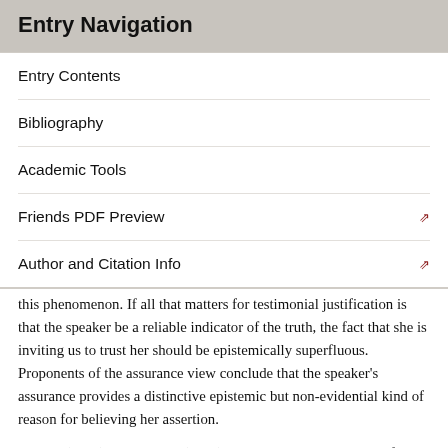Entry Navigation
Entry Contents
Bibliography
Academic Tools
Friends PDF Preview
Author and Citation Info
this phenomenon. If all that matters for testimonial justification is that the speaker be a reliable indicator of the truth, the fact that she is inviting us to trust her should be epistemically superfluous. Proponents of the assurance view conclude that the speaker’s assurance provides a distinctive epistemic but non-evidential kind of reason for believing her assertion.
Lackey (2008) and Schmitt (2010) raise an important problem for the assurance view. Perhaps the fact that a speaker invites us to trust her provides a distinctive kind of reason to accept her testimony. But it is not clear at all